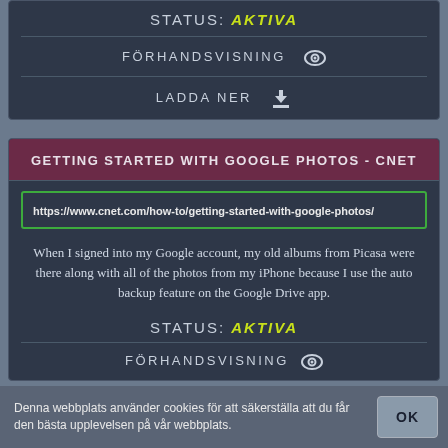STATUS: AKTIVA
FÖRHANDSVISNING
LADDA NER
GETTING STARTED WITH GOOGLE PHOTOS - CNET
https://www.cnet.com/how-to/getting-started-with-google-photos/
When I signed into my Google account, my old albums from Picasa were there along with all of the photos from my iPhone because I use the auto backup feature on the Google Drive app.
STATUS: AKTIVA
FÖRHANDSVISNING
Denna webbplats använder cookies för att säkerställa att du får den bästa upplevelsen på vår webbplats.